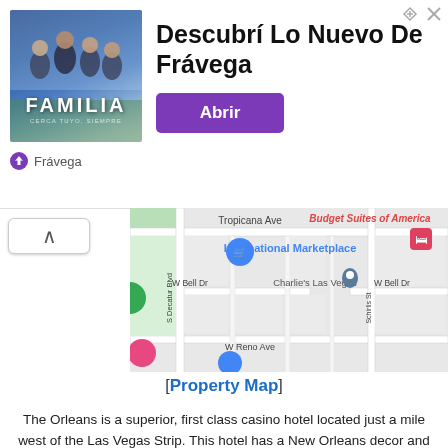[Figure (infographic): Familia advertisement banner for Frávega with group photo and purple 'Abrir' button]
[Figure (map): Google Maps screenshot showing Budget Suites of America location near Tropicana Ave, S Decatur Blvd, W Bell Dr, W Reno Ave. Shows International Marketplace, Charlie's Las Vegas markers.]
[ Property Map ]
The Orleans is a superior, first class casino hotel located just a mile west of the Las Vegas Strip. This hotel has a New Orleans decor and a Mardi Gras theme. It features a broad variety of entertainment options for the whole family. Aside from offering some of the largest rooms in Las Vegas, the Orleans has a 70 lane bowling center and an 18 screen movie theatre. The hotel hosts boxing matches once a month but nightly entertainment is on hand at their own Cabaret. The Orleans' showroom hosts nationally known performing acts on most nights. Because this hotel